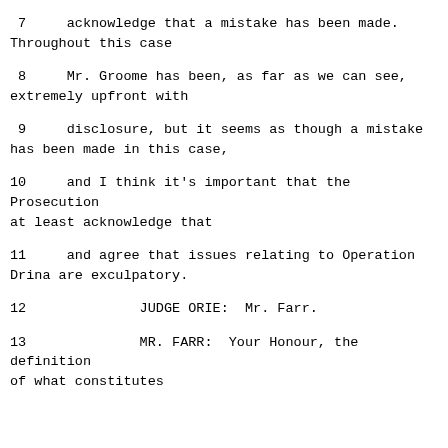7    acknowledge that a mistake has been made. Throughout this case
8    Mr. Groome has been, as far as we can see, extremely upfront with
9    disclosure, but it seems as though a mistake has been made in this case,
10    and I think it's important that the Prosecution at least acknowledge that
11    and agree that issues relating to Operation Drina are exculpatory.
12              JUDGE ORIE:  Mr. Farr.
13              MR. FARR:  Your Honour, the definition of what constitutes